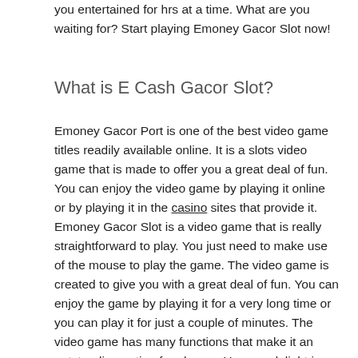you entertained for hrs at a time. What are you waiting for? Start playing Emoney Gacor Slot now!
What is E Cash Gacor Slot?
Emoney Gacor Port is one of the best video game titles readily available online. It is a slots video game that is made to offer you a great deal of fun. You can enjoy the video game by playing it online or by playing it in the casino sites that provide it. Emoney Gacor Slot is a video game that is really straightforward to play. You just need to make use of the mouse to play the game. The video game is created to give you with a great deal of fun. You can enjoy the game by playing it for a very long time or you can play it for just a couple of minutes. The video game has many functions that make it an outstanding option for players. You can delight in the game by using the various functions that are available to you. The game